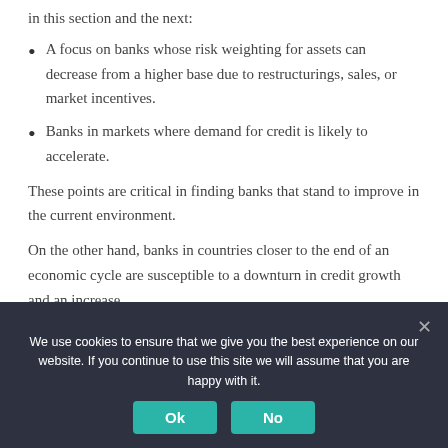in this section and the next:
A focus on banks whose risk weighting for assets can decrease from a higher base due to restructurings, sales, or market incentives.
Banks in markets where demand for credit is likely to accelerate.
These points are critical in finding banks that stand to improve in the current environment.
On the other hand, banks in countries closer to the end of an economic cycle are susceptible to a downturn in credit growth and an increase
We use cookies to ensure that we give you the best experience on our website. If you continue to use this site we will assume that you are happy with it.